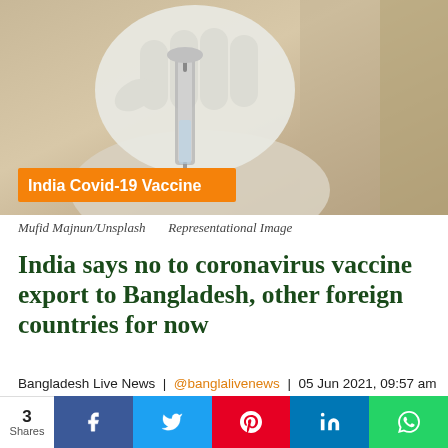[Figure (photo): Gloved hand holding a syringe/vaccine vial, with orange badge overlay reading 'India Covid-19 Vaccine']
Mufid Majnun/Unsplash     Representational Image
India says no to coronavirus vaccine export to Bangladesh, other foreign countries for now
Bangladesh Live News | @banglalivenews | 05 Jun 2021, 09:57 am
#CoronavirusVaccine, #IndiaVaccineExport,
3 Shares